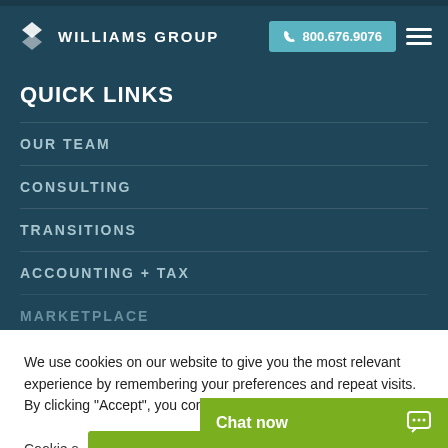Williams Group | 800.676.9076
QUICK LINKS
OUR TEAM
CONSULTING
TRANSITIONS
ACCOUNTING + TAX
MARKETPLACE
We use cookies on our website to give you the most relevant experience by remembering your preferences and repeat visits. By clicking “Accept”, you consent to the use of ALL the cookies.
Cookie settings
Chat now